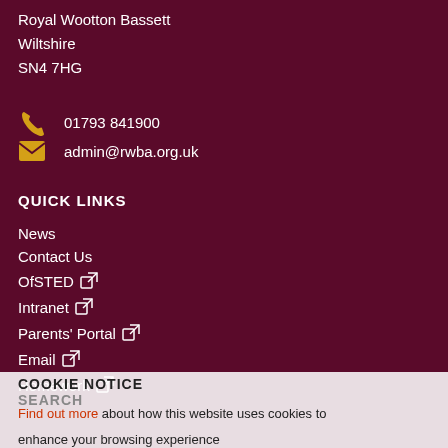Royal Wootton Bassett
Wiltshire
SN4 7HG
01793 841900
admin@rwba.org.uk
QUICK LINKS
News
Contact Us
OfSTED
Intranet
Parents' Portal
Email
Homework
COOKIE NOTICE
SEARCH
Find out more about how this website uses cookies to enhance your browsing experience